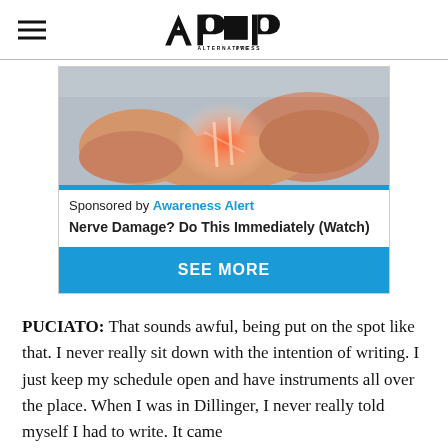Alternative Press
[Figure (photo): Medical/anatomical image showing hands examining a foot/ankle with a glowing red highlight on the ankle joint indicating nerve pain or damage.]
Sponsored by Awareness Alert
Nerve Damage? Do This Immediately (Watch)
SEE MORE
PUCIATO: That sounds awful, being put on the spot like that. I never really sit down with the intention of writing. I just keep my schedule open and have instruments all over the place. When I was in Dillinger, I never really told myself I had to write. It came